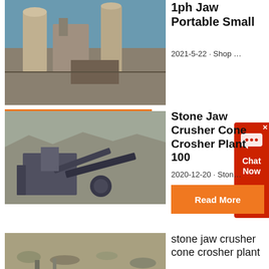[Figure (photo): Industrial crushing/milling plant machinery with silos and equipment]
1ph Jaw Portable Small
2021-5-22 · Shop …
Read More
[Figure (photo): Stone jaw crusher and cone crusher plant machinery at quarry site]
Stone Jaw Crusher Cone Crosher Plant 100
2020-12-20 · Ston…
Read More
[Figure (photo): Quarry site with stone jaw crusher cone crusher plant]
stone jaw crusher cone crosher plant